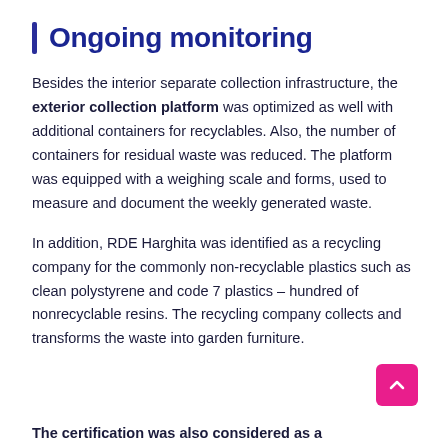Ongoing monitoring
Besides the interior separate collection infrastructure, the exterior collection platform was optimized as well with additional containers for recyclables. Also, the number of containers for residual waste was reduced. The platform was equipped with a weighing scale and forms, used to measure and document the weekly generated waste.
In addition, RDE Harghita was identified as a recycling company for the commonly non-recyclable plastics such as clean polystyrene and code 7 plastics – hundred of nonrecyclable resins. The recycling company collects and transforms the waste into garden furniture.
The certification was also considered as a